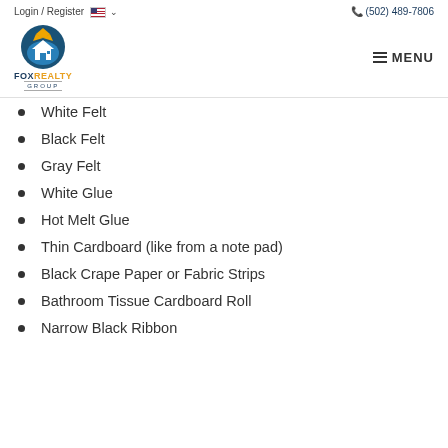Login / Register  🇺🇸 ∨      📞 (502) 489-7806
[Figure (logo): Fox Realty Group logo — circular icon with house and sun rays in blue and yellow/orange, with text FOXREALTY GROUP below]
White Felt
Black Felt
Gray Felt
White Glue
Hot Melt Glue
Thin Cardboard (like from a note pad)
Black Crape Paper or Fabric Strips
Bathroom Tissue Cardboard Roll
Narrow Black Ribbon